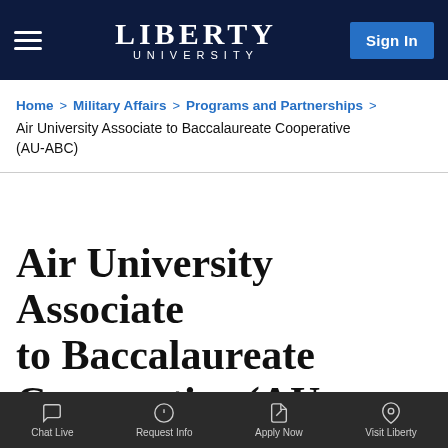LIBERTY UNIVERSITY
Home > Military Affairs > Programs and Partnerships > Air University Associate to Baccalaureate Cooperative (AU-ABC)
Air University Associate to Baccalaureate Cooperative (AU-ABC)
Chat Live | Request Info | Apply Now | Visit Liberty